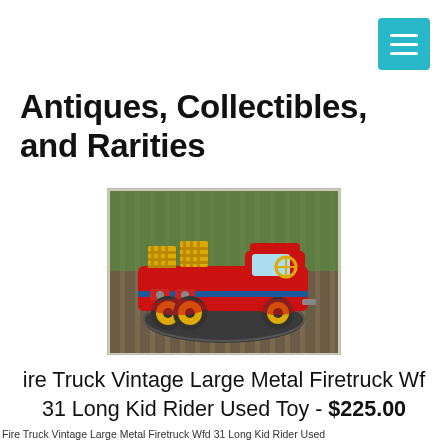[Figure (screenshot): Teal/cyan hamburger menu button in top right corner]
Antiques, Collectibles, and Rarities
[Figure (photo): Vintage red metal fire truck toy with yellow accents and wheels, sitting on a table on a porch with wooden railing visible in background]
ire Truck Vintage Large Metal Firetruck Wf 31 Long Kid Rider Used Toy - $225.00
Fire Truck Vintage Large Metal Firetruck Wfd 31 Long Kid Rider Used